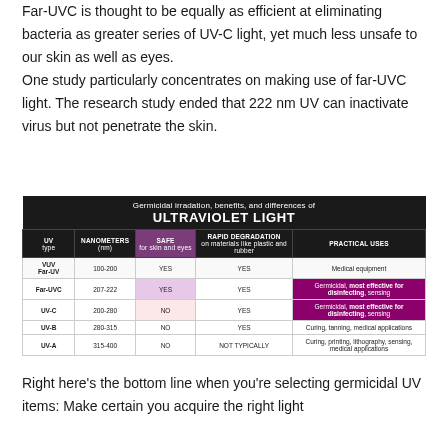Far-UVC is thought to be equally as efficient at eliminating bacteria as greater series of UV-C light, yet much less unsafe to our skin as well as eyes. One study particularly concentrates on making use of far-UVC light. The research study ended that 222 nm UV can inactivate virus but not penetrate the skin.
| UV type | NANOMETERS (nm) | SAFE for skin and eyes | RAPID DEGRADATION on materials like plastic and rubber | PRACTICAL USES |
| --- | --- | --- | --- | --- |
| VUV Far-UV | 100-200 | YES | YES | Medical equipment |
| Far-UVC | 207-222 | YES | YES | Germicidal, most effective for disinfecting, sensing |
| UV-C | 200-280 | NO | YES | Germicidal, most effective for disinfecting, sensing |
| UV-B | 280-315 | NO | YES | Curing, tanning, medical applications |
| UV-A | 315-400 | NO | NOT TYPICALLY | Curing, printing, lithography, sensing, medical applications |
Right here's the bottom line when you're selecting germicidal UV items: Make certain you acquire the right light